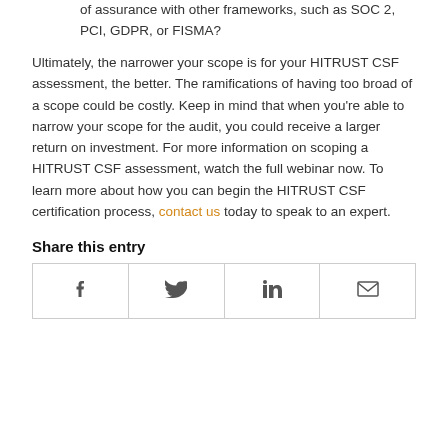of assurance with other frameworks, such as SOC 2, PCI, GDPR, or FISMA?
Ultimately, the narrower your scope is for your HITRUST CSF assessment, the better. The ramifications of having too broad of a scope could be costly. Keep in mind that when you're able to narrow your scope for the audit, you could receive a larger return on investment. For more information on scoping a HITRUST CSF assessment, watch the full webinar now. To learn more about how you can begin the HITRUST CSF certification process, contact us today to speak to an expert.
Share this entry
[Figure (infographic): Row of four social share icon buttons: Facebook, Twitter, LinkedIn, Email]